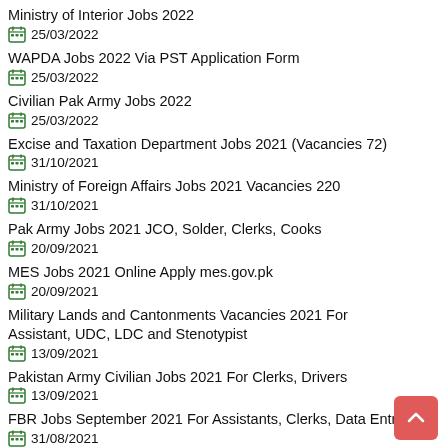Ministry of Interior Jobs 2022
25/03/2022
WAPDA Jobs 2022 Via PST Application Form
25/03/2022
Civilian Pak Army Jobs 2022
25/03/2022
Excise and Taxation Department Jobs 2021 (Vacancies 72)
31/10/2021
Ministry of Foreign Affairs Jobs 2021 Vacancies 220
31/10/2021
Pak Army Jobs 2021 JCO, Solder, Clerks, Cooks
20/09/2021
MES Jobs 2021 Online Apply mes.gov.pk
20/09/2021
Military Lands and Cantonments Vacancies 2021 For Assistant, UDC, LDC and Stenotypist
13/09/2021
Pakistan Army Civilian Jobs 2021 For Clerks, Drivers
13/09/2021
FBR Jobs September 2021 For Assistants, Clerks, Data Entry
31/08/2021
FBR Inspector Jobs 2021 Via FPSC in Inland Revenue
08/08/2021